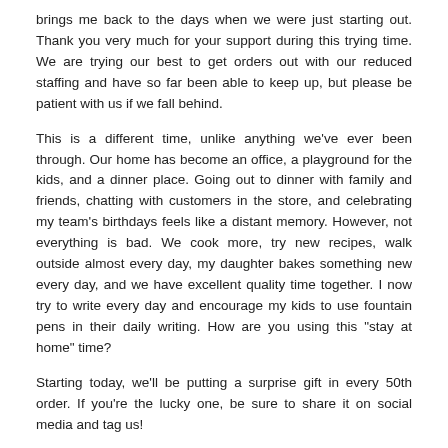brings me back to the days when we were just starting out. Thank you very much for your support during this trying time. We are trying our best to get orders out with our reduced staffing and have so far been able to keep up, but please be patient with us if we fall behind.
This is a different time, unlike anything we've ever been through. Our home has become an office, a playground for the kids, and a dinner place. Going out to dinner with family and friends, chatting with customers in the store, and celebrating my team's birthdays feels like a distant memory. However, not everything is bad. We cook more, try new recipes, walk outside almost every day, my daughter bakes something new every day, and we have excellent quality time together. I now try to write every day and encourage my kids to use fountain pens in their daily writing. How are you using this "stay at home" time?
Starting today, we'll be putting a surprise gift in every 50th order. If you're the lucky one, be sure to share it on social media and tag us!
Stay positive, be humorous, keep social distancing and WRITE MORE!
Thank you,